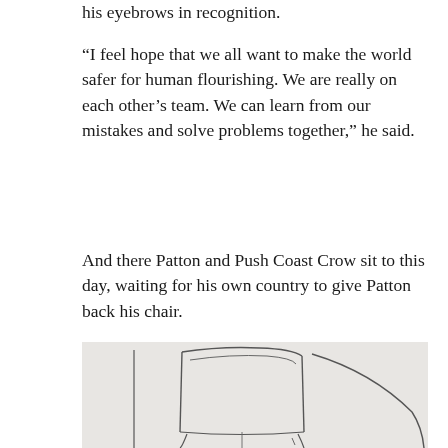his eyebrows in recognition.
“I feel hope that we all want to make the world safer for human flourishing. We are really on each other’s team. We can learn from our mistakes and solve problems together,” he said.
And there Patton and Push Coast Crow sit to this day, waiting for his own country to give Patton back his chair.
[Figure (illustration): A simple pencil line drawing on white/light grey paper showing the outline of a person (chair back and figure silhouette), with a curved line extending to the right.]